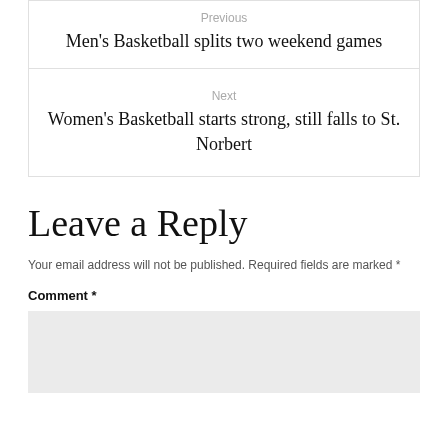Previous
Men's Basketball splits two weekend games
Next
Women's Basketball starts strong, still falls to St. Norbert
Leave a Reply
Your email address will not be published. Required fields are marked *
Comment *